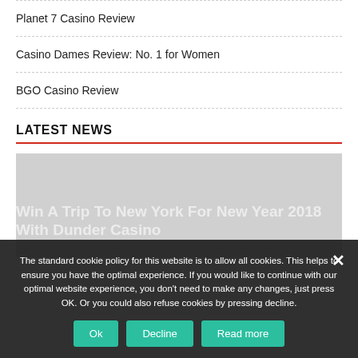Planet 7 Casino Review
Casino Dames Review: No. 1 for Women
BGO Casino Review
LATEST NEWS
[Figure (photo): Gray placeholder image for news article]
Win A Trip To New York For New Year 2018 With Dunder Casino
The standard cookie policy for this website is to allow all cookies. This helps to ensure you have the optimal experience. If you would like to continue with our optimal website experience, you don't need to make any changes, just press OK. Or you could also refuse cookies by pressing decline.